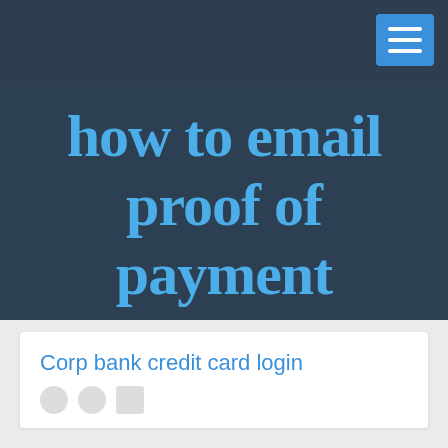[Figure (screenshot): Website screenshot showing a navigation bar with hamburger menu button (blue), a dark blue-gray hero section with cursive text title, and a white card section at the bottom with a blue link title 'Corp bank credit card login']
how to email proof of payment from fnb app
..
Corp bank credit card login